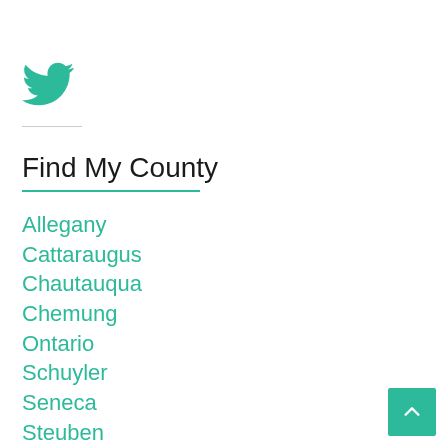[Figure (logo): Twitter bird logo icon in teal/green color]
Find My County
Allegany
Cattaraugus
Chautauqua
Chemung
Ontario
Schuyler
Seneca
Steuben
Tioga
Tompkins
Yates